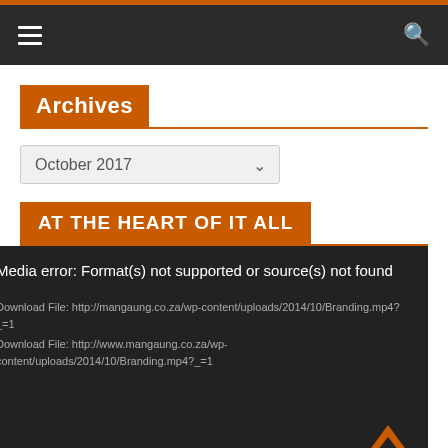Navigation bar with hamburger menu and search icon
Archives
October 2017
AT THE HEART OF IT ALL
Media error: Format(s) not supported or source(s) not found
Download File: http://mangaung.co.za/wp-content/uploads/2014/10/Branding.mp4?_=1
Download File: http://www.mangaung.co.za/wp-content/uploads/2014/10/Branding.mp4?_=1